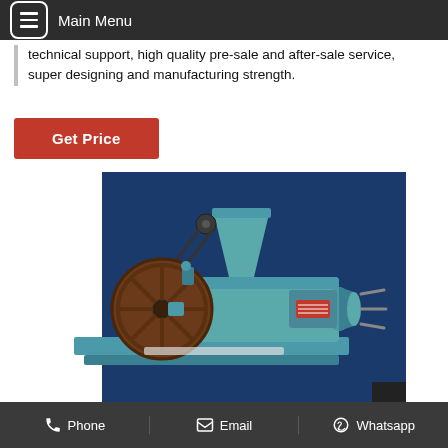Main Menu
technical support, high quality pre-sale and after-sale service, super designing and manufacturing strength.
Get Price
[Figure (photo): Industrial oil press machine in blue/teal color with a large wheel flywheel on the left, hopper on top, and cylindrical press barrel, displayed on a dark blue background.]
Phone   Email   Whatsapp